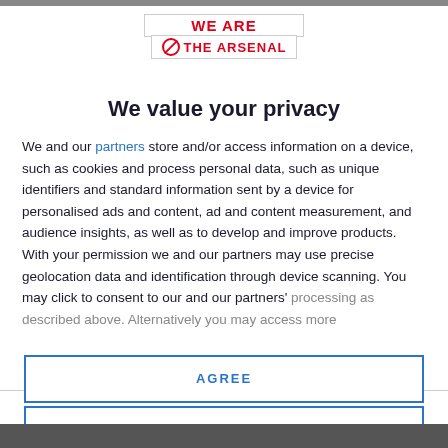[Figure (logo): We Are The Arsenal logo with two stacked boxes with red bold text and a no-entry icon]
We value your privacy
We and our partners store and/or access information on a device, such as cookies and process personal data, such as unique identifiers and standard information sent by a device for personalised ads and content, ad and content measurement, and audience insights, as well as to develop and improve products. With your permission we and our partners may use precise geolocation data and identification through device scanning. You may click to consent to our and our partners' processing as described above. Alternatively you may access more
AGREE
MORE OPTIONS